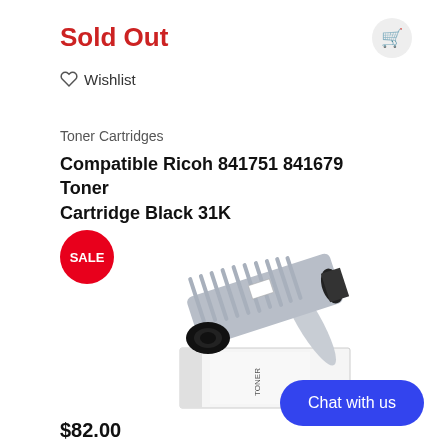Sold Out
Wishlist
Toner Cartridges
Compatible Ricoh 841751 841679 Toner Cartridge Black 31K
[Figure (photo): Photo of a Compatible Ricoh 841751 841679 Toner Cartridge Black 31K product, showing the toner cartridge lying on its white packaging box. A red SALE badge is overlaid in the top-left area.]
Chat with us
$82.00